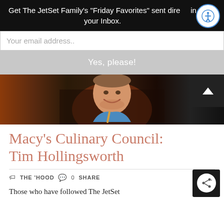Get The JetSet Family's "Friday Favorites" sent directly in your Inbox.
Your email address..
Yes, please!
[Figure (photo): Photo of a smiling male chef wearing a blue shirt and yellow apron, in a restaurant setting with warm amber lighting]
Macy's Culinary Council: Tim Hollingsworth
THE 'HOOD   0  SHARE
Those who have followed The JetSet